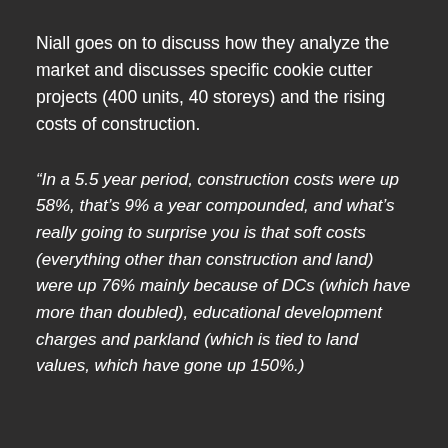Niall goes on to discuss how they analyze the market and discusses specific cookie cutter projects (400 units, 40 storeys) and the rising costs of construction.
“In a 5.5 year period, construction costs were up 58%, that’s 9% a year compounded, and what’s really going to surprise you is that soft costs (everything other than construction and land) were up 76% mainly because of DCs (which have more than doubled), educational development charges and parkland (which is tied to land values, which have gone up 150%.)